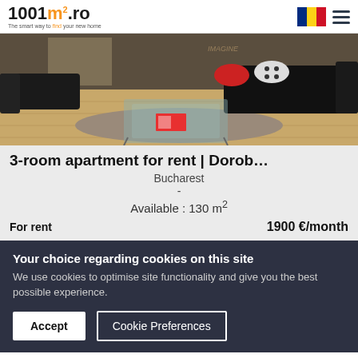1001m².ro — The smart way to find your new home
[Figure (photo): Interior photo of a living room with leather sofa, glass coffee table, wooden floor, and rug]
3-room apartment for rent | Dorob…
Bucharest
-
Available : 130 m²
For rent
1900 €/month
Your choice regarding cookies on this site
We use cookies to optimise site functionality and give you the best possible experience.
Accept
Cookie Preferences